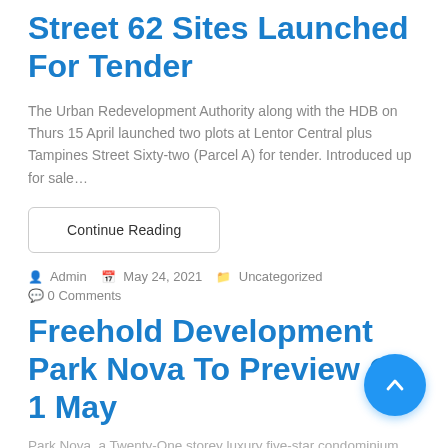Street 62 Sites Launched For Tender
The Urban Redevelopment Authority along with the HDB on Thurs 15 April launched two plots at Lentor Central plus Tampines Street Sixty-two (Parcel A) for tender. Introduced up for sale…
Continue Reading
Admin   May 24, 2021   Uncategorized
0 Comments
Freehold Development Park Nova To Preview On 1 May
Park Nova, a Twenty-One storey luxury five-star condominium...